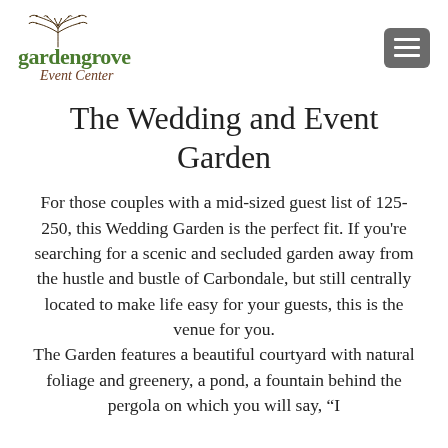[Figure (logo): Garden Grove Event Center logo with tree illustration, green 'gardengrove' text and brown italic 'Event Center' text, plus a gray hamburger menu icon]
The Wedding and Event Garden
For those couples with a mid-sized guest list of 125-250, this Wedding Garden is the perfect fit. If you're searching for a scenic and secluded garden away from the hustle and bustle of Carbondale, but still centrally located to make life easy for your guests, this is the venue for you.
The Garden features a beautiful courtyard with natural foliage and greenery, a pond, a fountain behind the pergola on which you will say, “I